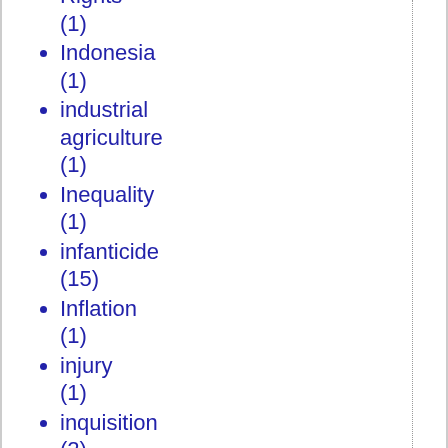Rights (1)
Indonesia (1)
industrial agriculture (1)
Inequality (1)
infanticide (15)
Inflation (1)
injury (1)
inquisition (2)
intellectual bankruptcy (1)
Intellectuals (2)
intelligent design (2)